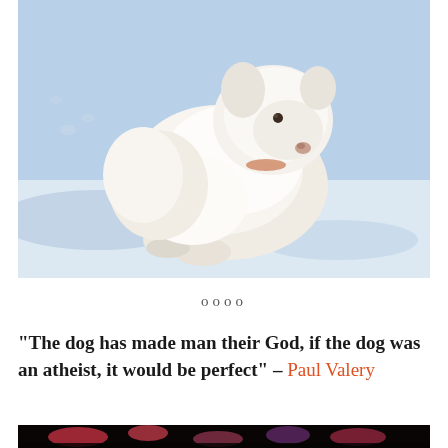[Figure (photo): A white Samoyed dog lying in the snow, looking to the right. The dog has thick fluffy white fur. The background shows bright white snow with blue shadows.]
oooo
“The dog has made man their God, if the dog was an atheist, it would be perfect” – Paul Valery
[Figure (photo): Bottom portion of another image, appears to show colorful flowers or plants against a dark background.]